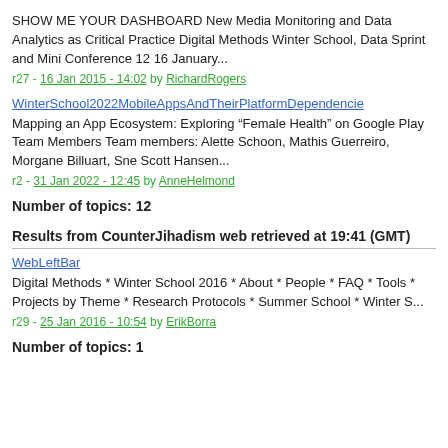SHOW ME YOUR DASHBOARD New Media Monitoring and Data Analytics as Critical Practice Digital Methods Winter School, Data Sprint and Mini Conference 12 16 January...
r27 - 16 Jan 2015 - 14:02 by RichardRogers
WinterSchool2022MobileAppsAndTheirPlatformDependencie
Mapping an App Ecosystem: Exploring “Female Health” on Google Play Team Members Team members: Alette Schoon, Mathis Guerreiro, Morgane Billuart, Sne Scott Hansen...
r2 - 31 Jan 2022 - 12:45 by AnneHelmond
Number of topics: 12
Results from CounterJihadism web retrieved at 19:41 (GMT)
WebLeftBar
Digital Methods * Winter School 2016 * About * People * FAQ * Tools * Projects by Theme * Research Protocols * Summer School * Winter S...
r29 - 25 Jan 2016 - 10:54 by ErikBorra
Number of topics: 1